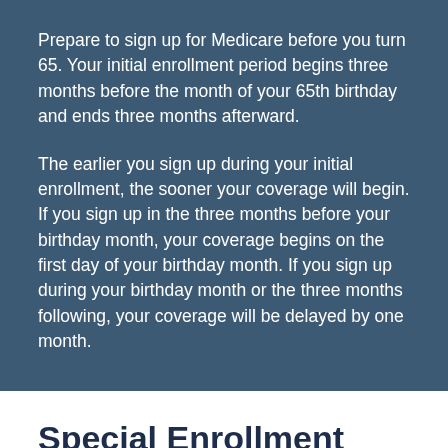Prepare to sign up for Medicare before you turn 65. Your initial enrollment period begins three months before the month of your 65th birthday and ends three months afterward.
The earlier you sign up during your initial enrollment, the sooner your coverage will begin. If you sign up in the three months before your birthday month, your coverage begins on the first day of your birthday month. If you sign up during your birthday month or the three months following, your coverage will be delayed by one month.
Special Enrollment Periods
You may be eligible for a special enrollment period